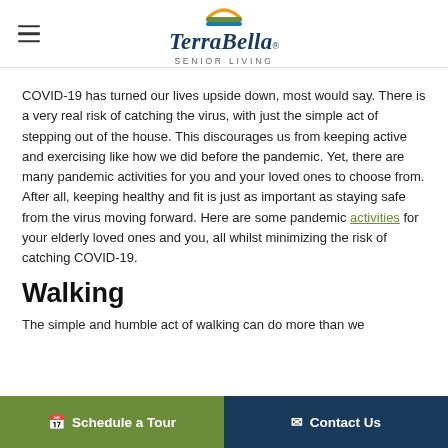TerraBella Senior Living
COVID-19 has turned our lives upside down, most would say. There is a very real risk of catching the virus, with just the simple act of stepping out of the house. This discourages us from keeping active and exercising like how we did before the pandemic. Yet, there are many pandemic activities for you and your loved ones to choose from. After all, keeping healthy and fit is just as important as staying safe from the virus moving forward. Here are some pandemic activities for your elderly loved ones and you, all whilst minimizing the risk of catching COVID-19.
Walking
The simple and humble act of walking can do more than we
Schedule a Tour | Contact Us